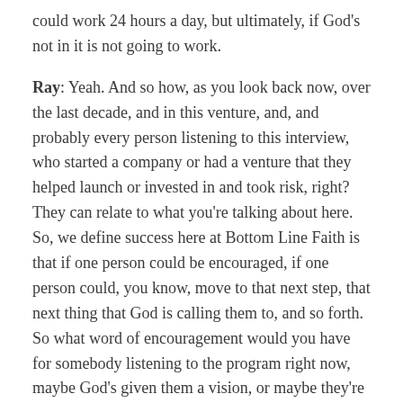could work 24 hours a day, but ultimately, if God's not in it is not going to work.
Ray: Yeah. And so how, as you look back now, over the last decade, and in this venture, and, and probably every person listening to this interview, who started a company or had a venture that they helped launch or invested in and took risk, right? They can relate to what you're talking about here. So, we define success here at Bottom Line Faith is that if one person could be encouraged, if one person could, you know, move to that next step, that next thing that God is calling them to, and so forth. So what word of encouragement would you have for somebody listening to the program right now, maybe God's given them a vision, or maybe they're not even sure it's from God, but they've got an idea, they've got a thought, a hope of something they want to start or launch or move on to–how would you encourage that person? What would you advise them back?